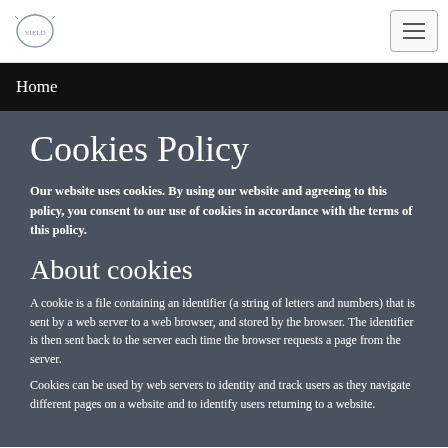Home
Cookies Policy
Our website uses cookies. By using our website and agreeing to this policy, you consent to our use of cookies in accordance with the terms of this policy.
About cookies
A cookie is a file containing an identifier (a string of letters and numbers) that is sent by a web server to a web browser, and stored by the browser. The identifier is then sent back to the server each time the browser requests a page from the server.
Cookies can be used by web servers to identity and track users as they navigate different pages on a website and to identify users returning to a website.